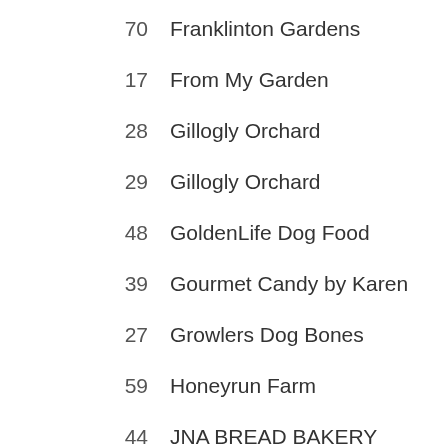70  Franklinton Gardens
17  From My Garden
28  Gillogly Orchard
29  Gillogly Orchard
48  GoldenLife Dog Food
39  Gourmet Candy by Karen
27  Growlers Dog Bones
59  Honeyrun Farm
44  JNA BREAD BAKERY